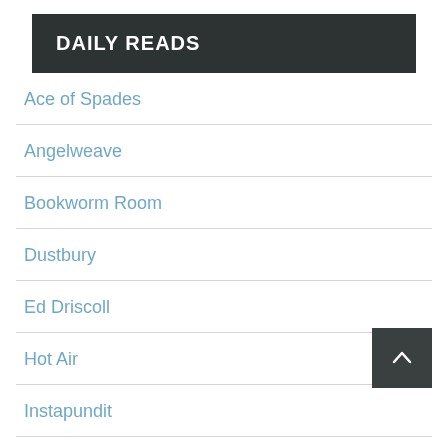DAILY READS
Ace of Spades
Angelweave
Bookworm Room
Dustbury
Ed Driscoll
Hot Air
Instapundit
Jack Baruth